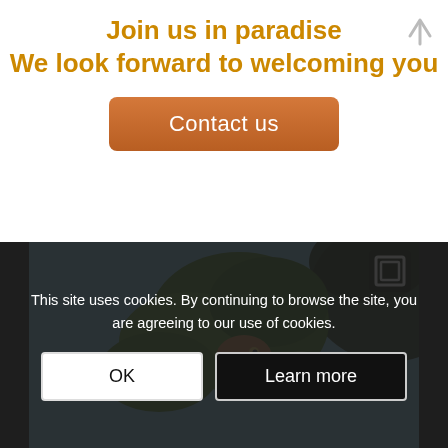Join us in paradise
We look forward to welcoming you
Contact us
[Figure (photo): A bare dead tree with branching limbs against a grey sky background]
[Figure (photo): A bird (likely a heron) peeking through green leaves with blue sky background, with expand icon]
This site uses cookies. By continuing to browse the site, you are agreeing to our use of cookies.
OK
Learn more